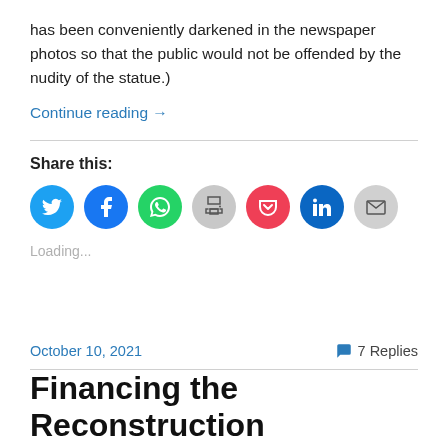has been conveniently darkened in the newspaper photos so that the public would not be offended by the nudity of the statue.)
Continue reading →
[Figure (infographic): Share icons row: Twitter (blue), Facebook (dark blue), WhatsApp (green), Print (gray), Pocket (red), LinkedIn (dark blue), Email (gray)]
Loading...
October 10, 2021
7 Replies
Financing the Reconstruction